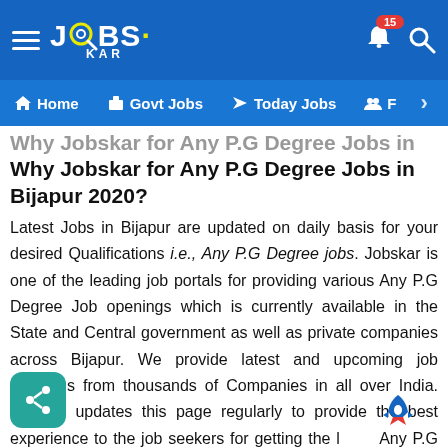Jobskar — Home | Govt Jobs | Today Jobs navigation bar
Why Jobskar for Any P.G Degree Jobs in Bijapur 2020?
Latest Jobs in Bijapur are updated on daily basis for your desired Qualifications i.e., Any P.G Degree jobs. Jobskar is one of the leading job portals for providing various Any P.G Degree Job openings which is currently available in the State and Central government as well as private companies across Bijapur. We provide latest and upcoming job openings from thousands of Companies in all over India. Jobskar updates this page regularly to provide the best experience to the job seekers for getting the latest Any P.G Degree Jobs in Bijapur. We update Jobs in Bijapur for both freshers and experienced candidates. Get up-to-date